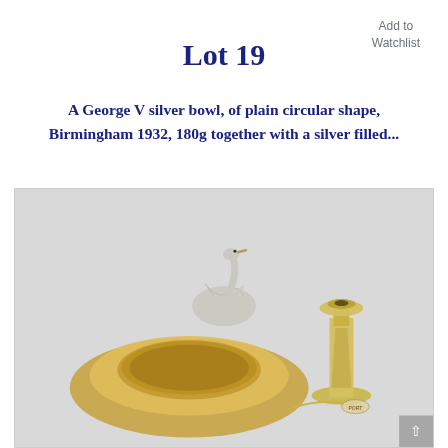Add to Watchlist
Lot 19
A George V silver bowl, of plain circular shape, Birmingham 1932, 180g together with a silver filled...
[Figure (photo): Photo of silver items: a decorative swan figurine, a candlestick, a circular silver bowl/dish, and a small label spoon, arranged on a light grey surface.]